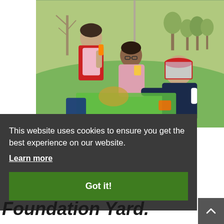[Figure (photo): Three children outdoors on grass. One child wears a red cape and holds an orange item, another child in pink holds a yellow cup, and a third child wears a red visor/face shield and dark jacket. They appear to be playing or having a picnic on green grass with trees in the background.]
This website uses cookies to ensure you get the best experience on our website.
Learn more
Got it!
Foundation Yard.